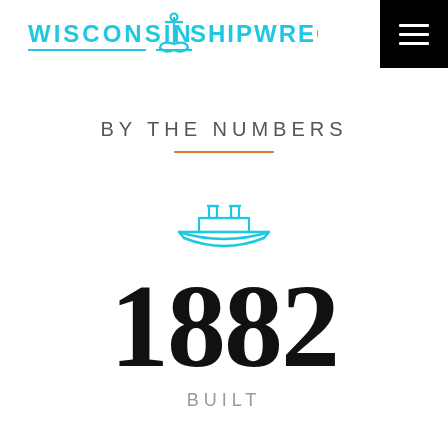[Figure (logo): Wisconsin Shipwrecks logo with cyan text and ship anchor icon, plus black hamburger menu button in top right corner]
BY THE NUMBERS
[Figure (illustration): Cyan outline icon of a ship/steamboat]
1882
BUILT